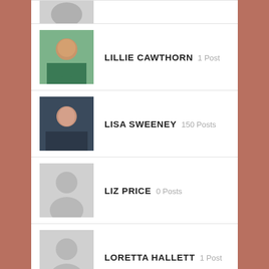(partial avatar row at top)
LILLIE CAWTHORN 1 Post
LISA SWEENEY 150 Posts
LIZ PRICE 0 Posts
LORETTA HALLETT 1 Post
LORI WINDLE 0 Posts
(partial avatar row at bottom)